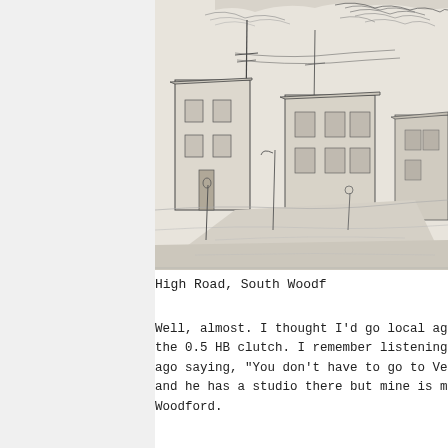[Figure (illustration): Pencil sketch of a street scene showing buildings, utility poles, trees, and a road receding into the distance. The scene depicts High Road, South Woodford.]
High Road, South Woodf...
Well, almost. I thought I'd go local aga... the 0.5 HB clutch. I remember listening ... ago saying, "You don't have to go to Ven... and he has a studio there but mine is my... Woodford.